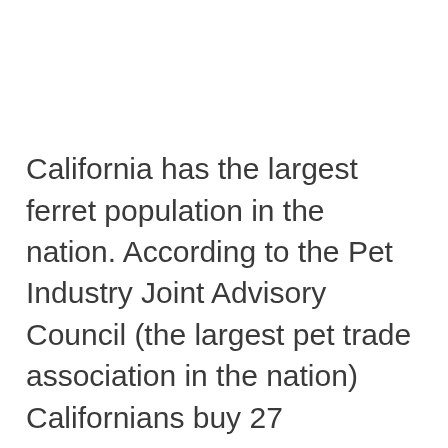California has the largest ferret population in the nation. According to the Pet Industry Joint Advisory Council (the largest pet trade association in the nation) Californians buy 27